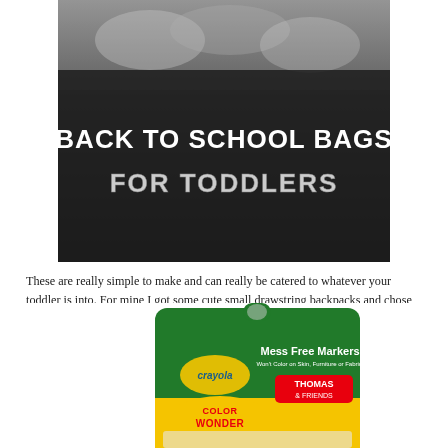[Figure (photo): Photo of back to school bags with bold text overlay reading 'BACK TO SCHOOL BAGS FOR TODDLERS']
These are really simple to make and can really be catered to whatever your toddler is into. For mine I got some cute small drawstring backpacks and chose hair scrunchies, mess free marker activity books and playdough sets.
Mess free markers are a toddler mom's BEST FRIEND. Babycakes gets to practice coloring but the markers don't transfer color to anything other than the special paper that comes with them. There's a number of full mess free marker coloring book sets available but for this case I chose the small booklets with just one marker.
[Figure (photo): Crayola Color Wonder Mess Free Markers Thomas & Friends product packaging in green bag]